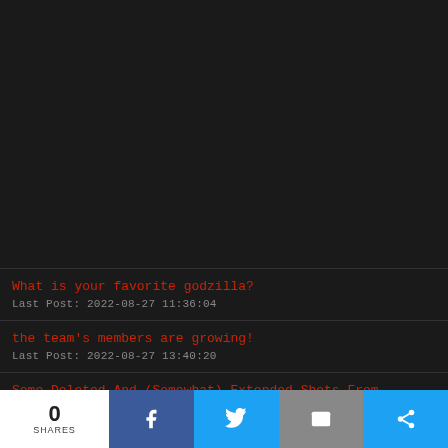[Figure (other): Dark background image area (mostly black/dark grey screenshot area)]
What is your favorite godzilla?
Last Post: 2022-08-27 11:36:04
the team's members are growing!
Last Post: 2022-08-27 13:40:20
Some Deleted And (Somewhat) Extended Shots From Godzilla 2014
Last Post: 2022-08-18 08:27:18
0 SHARES